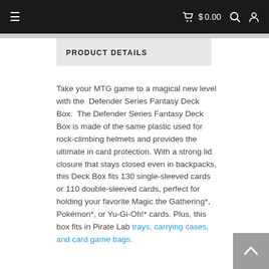≡   $ 0.00  🔍  👤
PRODUCT DETAILS
Take your MTG game to a magical new level with the Defender Series Fantasy Deck Box. The Defender Series Fantasy Deck Box is made of the same plastic used for rock-climbing helmets and provides the ultimate in card protection. With a strong lid closure that stays closed even in backpacks, this Deck Box fits 130 single-sleeved cards or 110 double-sleeved cards, perfect for holding your favorite Magic the Gathering*, Pokémon*, or Yu-Gi-Oh!* cards. Plus, this box fits in Pirate Lab trays, carrying cases, and card game bags.